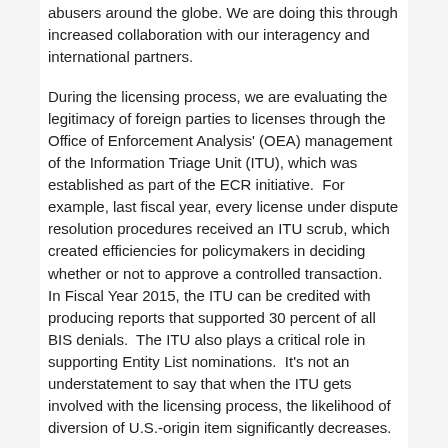abusers around the globe. We are doing this through increased collaboration with our interagency and international partners.
During the licensing process, we are evaluating the legitimacy of foreign parties to licenses through the Office of Enforcement Analysis' (OEA) management of the Information Triage Unit (ITU), which was established as part of the ECR initiative.  For example, last fiscal year, every license under dispute resolution procedures received an ITU scrub, which created efficiencies for policymakers in deciding whether or not to approve a controlled transaction.  In Fiscal Year 2015, the ITU can be credited with producing reports that supported 30 percent of all BIS denials.  The ITU also plays a critical role in supporting Entity List nominations.  It's not an understatement to say that when the ITU gets involved with the licensing process, the likelihood of diversion of U.S.-origin item significantly decreases.
Working cooperatively with our international partners, our end-use check program continues to ferret out sophisticated networks of proliferators.    Our end-use check program is anchored by BIS Export Control Officers or ECOs stationed in six locations around the globe -- China, Hong Kong, India, Russia, Singapore, and the United Arab Emirates – which have geographical reach to an additional 38 countries.  And